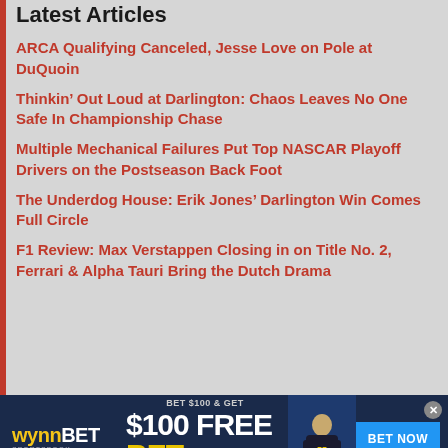Latest Articles
ARCA Qualifying Canceled, Jesse Love on Pole at DuQuoin
Thinkin’ Out Loud at Darlington: Chaos Leaves No One Safe In Championship Chase
Multiple Mechanical Failures Put Top NASCAR Playoff Drivers on the Postseason Back Foot
The Underdog House: Erik Jones’ Darlington Win Comes Full Circle
F1 Review: Max Verstappen Closing in on Title No. 2, Ferrari & Alpha Tauri Bring the Dutch Drama
[Figure (infographic): WynnBET Sportsbook advertisement banner: BET $100 & GET $100 FREE BET, NEW CUSTOMERS ONLY, with BET NOW button, football player silhouette]